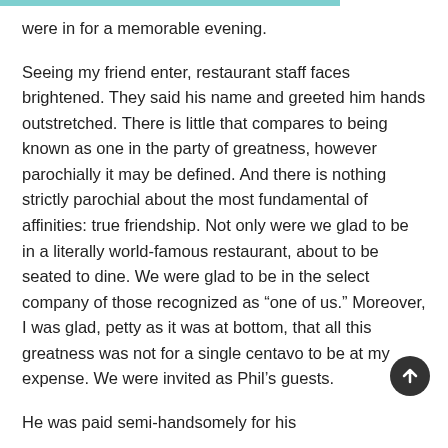were in for a memorable evening.
Seeing my friend enter, restaurant staff faces brightened. They said his name and greeted him hands outstretched. There is little that compares to being known as one in the party of greatness, however parochially it may be defined. And there is nothing strictly parochial about the most fundamental of affinities: true friendship. Not only were we glad to be in a literally world-famous restaurant, about to be seated to dine. We were glad to be in the select company of those recognized as “one of us.” Moreover, I was glad, petty as it was at bottom, that all this greatness was not for a single centavo to be at my expense. We were invited as Phil’s guests.
He was paid semi-handsomely for his